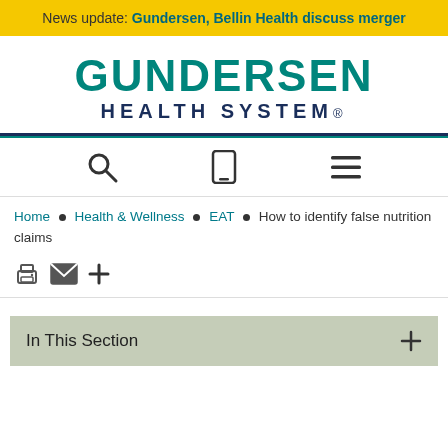News update: Gundersen, Bellin Health discuss merger
[Figure (logo): Gundersen Health System logo with teal GUNDERSEN text and dark blue HEALTH SYSTEM text]
[Figure (screenshot): Navigation icons row: search magnifying glass, mobile phone, hamburger menu]
Home • Health & Wellness • EAT • How to identify false nutrition claims
[Figure (infographic): Action icons: print, email/envelope, plus sign]
In This Section